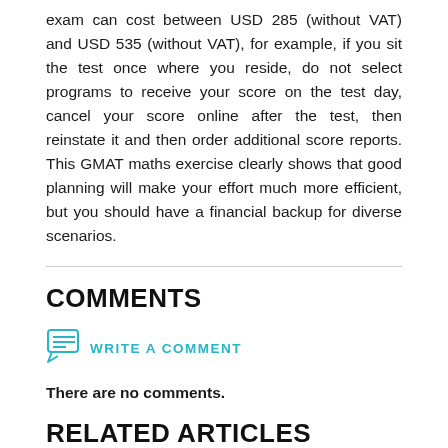exam can cost between USD 285 (without VAT) and USD 535 (without VAT), for example, if you sit the test once where you reside, do not select programs to receive your score on the test day, cancel your score online after the test, then reinstate it and then order additional score reports. This GMAT maths exercise clearly shows that good planning will make your effort much more efficient, but you should have a financial backup for diverse scenarios.
COMMENTS
WRITE A COMMENT
There are no comments.
RELATED ARTICLES